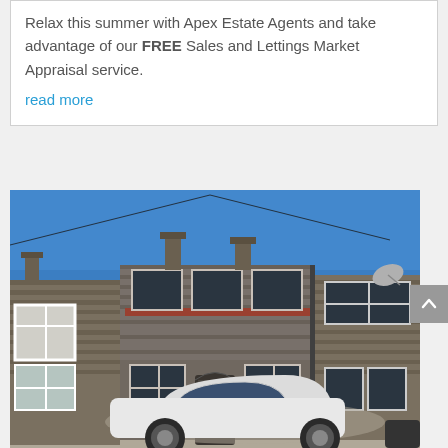Relax this summer with Apex Estate Agents and take advantage of our FREE Sales and Lettings Market Appraisal service.
read more
[Figure (photo): Photograph of a terraced stone brick house with blue sky above. A white car is parked in front of the property. The street shows multiple terraced houses.]